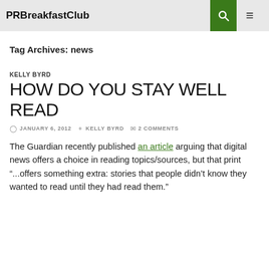PRBreakfastClub
Tag Archives: news
KELLY BYRD
HOW DO YOU STAY WELL READ
JANUARY 6, 2012  KELLY BYRD  2 COMMENTS
The Guardian recently published an article arguing that digital news offers a choice in reading topics/sources, but that print "...offers something extra: stories that people didn't know they wanted to read until they had read them."